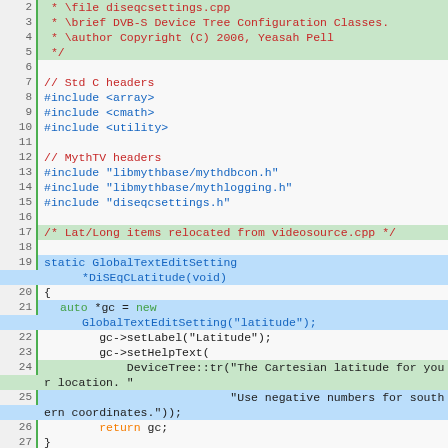[Figure (screenshot): Source code viewer showing C++ file diseqcsettings.cpp with syntax highlighting. Lines 2-29 visible. Line numbers on the left with green vertical bar separator. Code includes file comment block, standard C headers (array, cmath, utility), MythTV headers (libmythbase/mythdbcon.h, libmythbase/mythlogging.h, diseqcsettings.h), a relocated Lat/Long comment, and beginning of static GlobalTextEditSetting functions for DiSEqCLatitude and DiSEqCLongitude.]